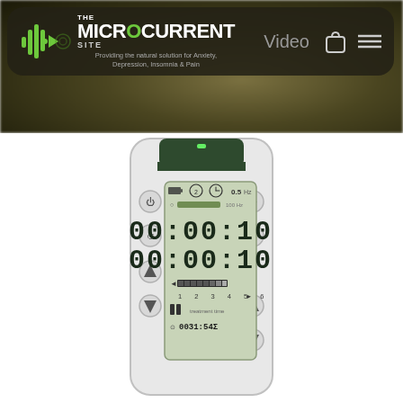THE MICROCURRENT SITE — Providing the natural solution for Anxiety, Depression, Insomnia & Pain — Video
[Figure (photo): Microcurrent therapy device (handheld unit) with LCD display showing 00:00:10 timer and numbered 1-6 channel display, with control buttons on both sides. Device is white/silver with dark green accent panel.]